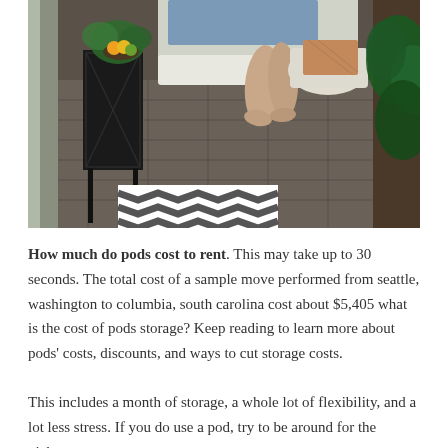[Figure (photo): A person sitting on a bed or low seat with bare feet on a stone tile floor. There are plants, a bowl of citrus fruits, a black metal shelf/crate, and a black-and-white chevron rug in the foreground. Lush green tropical plants are visible to the right side.]
How much do pods cost to rent. This may take up to 30 seconds. The total cost of a sample move performed from seattle, washington to columbia, south carolina cost about $5,405 what is the cost of pods storage? Keep reading to learn more about pods' costs, discounts, and ways to cut storage costs.
This includes a month of storage, a whole lot of flexibility, and a lot less stress. If you do use a pod, try to be around for the pickup.